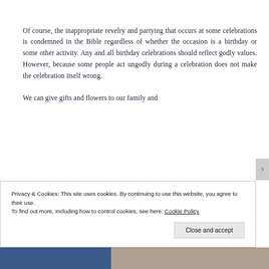Of course, the inappropriate revelry and partying that occurs at some celebrations is condemned in the Bible regardless of whether the occasion is a birthday or some other activity. Any and all birthday celebrations should reflect godly values. However, because some people act ungodly during a celebration does not make the celebration itself wrong.
We can give gifts and flowers to our family and
Privacy & Cookies: This site uses cookies. By continuing to use this website, you agree to their use.
To find out more, including how to control cookies, see here: Cookie Policy
Close and accept